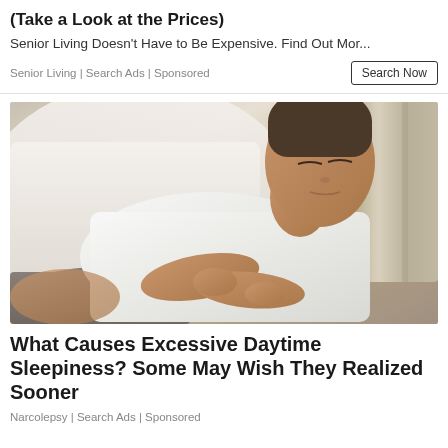(Take a Look at the Prices)
Senior Living Doesn't Have to Be Expensive. Find Out Mor...
Senior Living | Search Ads | Sponsored
[Figure (photo): A middle-aged woman lying on a bed or couch wearing a white t-shirt and grey shorts, eyes closed, with white pillows and striped cushions in the background.]
What Causes Excessive Daytime Sleepiness? Some May Wish They Realized Sooner
Narcolepsy | Search Ads | Sponsored